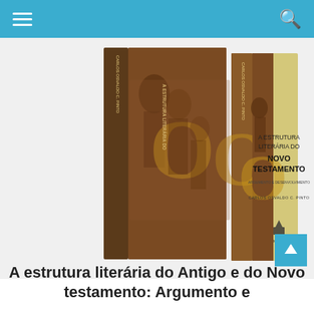Navigation bar with hamburger menu and search icon
[Figure (photo): Two books displayed side by side. The front book has a yellow/cream cover with the title 'A ESTRUTURA LITERÁRIA DO NOVO TESTAMENTO — ARGUMENTO E DESENVOLVIMENTO' by CARLOS OSVALDO C. PINTO, published by Hagnos. Behind it is a darker book with the same series spine. Both feature religious artwork depicting figures including Jesus Christ.]
A estrutura literária do Antigo e do Novo testamento: Argumento e